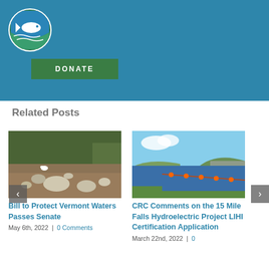[Figure (logo): Circular green and blue logo with a fish illustration]
DONATE
Related Posts
[Figure (photo): Rocky riverbank with shallow water, green vegetation in background]
Bill to Protect Vermont Waters Passes Senate
May 6th, 2022  |  0 Comments
[Figure (photo): Reservoir or lake with orange buoy line, blue water, hills in background]
CRC Comments on the 15 Mile Falls Hydroelectric Project LIHI Certification Application
March 22nd, 2022  |  0